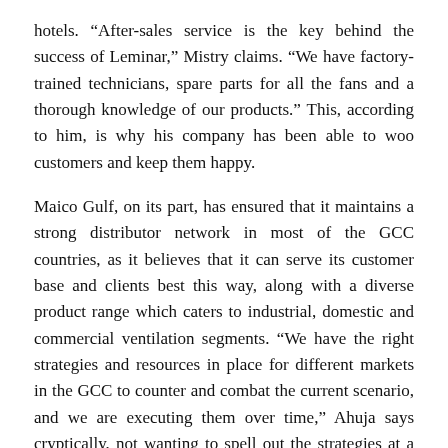hotels. “After-sales service is the key behind the success of Leminar,” Mistry claims. “We have factory-trained technicians, spare parts for all the fans and a thorough knowledge of our products.” This, according to him, is why his company has been able to woo customers and keep them happy.
Maico Gulf, on its part, has ensured that it maintains a strong distributor network in most of the GCC countries, as it believes that it can serve its customer base and clients best this way, along with a diverse product range which caters to industrial, domestic and commercial ventilation segments. “We have the right strategies and resources in place for different markets in the GCC to counter and combat the current scenario, and we are executing them over time,” Ahuja says cryptically, not wanting to spell out the strategies at a time when everyone is vying for a wedge of a substantially shrunk market pie.
CHALLENGES